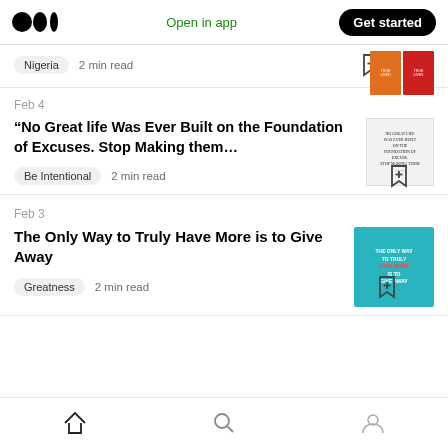Open in app | Get started
Nigeria  2 min read
Feb 4
“No Great life Was Ever Built on the Foundation of Excuses. Stop Making them…
Be Intentional  2 min read
Feb 3
The Only Way to Truly Have More is to Give Away
Greatness  2 min read
Home | Search | Profile